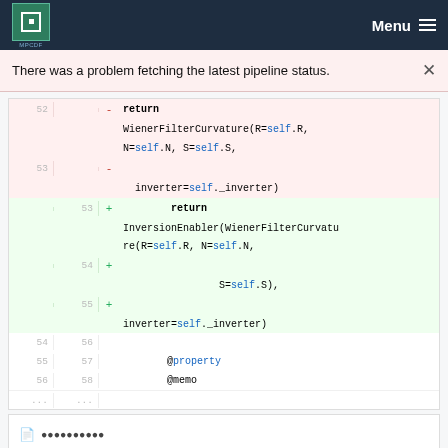MPCDF Menu
There was a problem fetching the latest pipeline status.
[Figure (screenshot): Code diff view showing removal of WienerFilterCurvature(...) and addition of InversionEnabler(WienerFilterCurvature(...)) with line numbers 52-58]
@property @memo (bottom snippet)